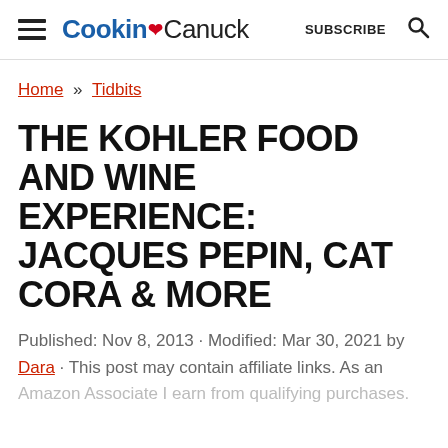Cookin Canuck  SUBSCRIBE
Home » Tidbits
THE KOHLER FOOD AND WINE EXPERIENCE: JACQUES PEPIN, CAT CORA & MORE
Published: Nov 8, 2013 · Modified: Mar 30, 2021 by Dara · This post may contain affiliate links. As an Amazon Associate I earn from qualifying purchases.